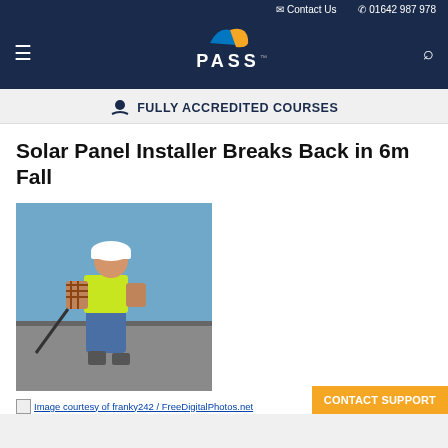✉ Contact Us   ✆ 01642 987 978
[Figure (logo): PASS logo with orange and blue swoosh graphic above the text PASS]
🎓 FULLY ACCREDITED COURSES
Solar Panel Installer Breaks Back in 6m Fall
[Figure (photo): A construction worker wearing a yellow high-visibility vest and white hard hat, crouching on a flat roof and working with a tool or cable.]
Image courtesy of franky242 / FreeDigitalPhotos.net
CONTACT SUPPORT